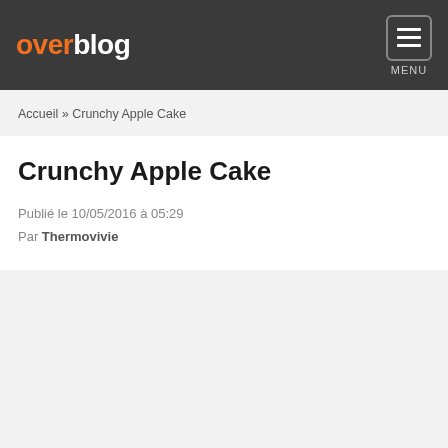overblog MENU
Accueil » Crunchy Apple Cake
Crunchy Apple Cake
Publié le 10/05/2016 à 05:29
Par Thermovivie